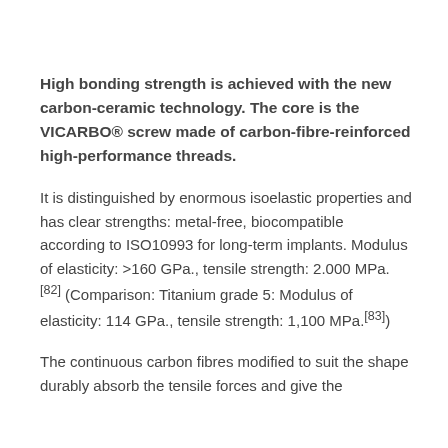High bonding strength is achieved with the new carbon-ceramic technology. The core is the VICARBO® screw made of carbon-fibre-reinforced high-performance threads.
It is distinguished by enormous isoelastic properties and has clear strengths: metal-free, biocompatible according to ISO10993 for long-term implants. Modulus of elasticity: >160 GPa., tensile strength: 2.000 MPa. [82] (Comparison: Titanium grade 5: Modulus of elasticity: 114 GPa., tensile strength: 1,100 MPa.[83])
The continuous carbon fibres modified to suit the shape durably absorb the tensile forces and give the VICARBO® screw its unique properties.